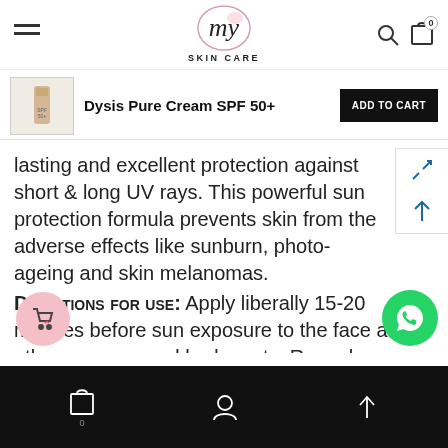My Skin Care — top navigation with hamburger menu, logo, search and cart icons
Dysis Pure Cream SPF 50+
lasting and excellent protection against short & long UV rays. This powerful sun protection formula prevents skin from the adverse effects like sunburn, photo-ageing and skin melanomas.
Directions for use: Apply liberally 15-20 minutes before sun exposure to the face and other sun-exposed body parts. Reapply frequently to maintain protection, especially after perspiring, swimming or towelling.
Bottom navigation bar with cart, clipboard, user and share icons